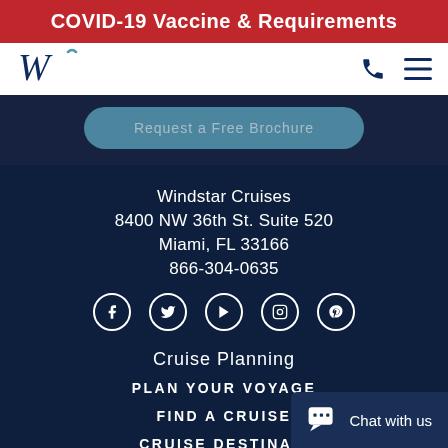COVID-19 Vaccine & Requirements
[Figure (logo): Windstar Cruises W logo in dark navy blue with stylized wave]
Request a Free Brochure
Windstar Cruises
8400 NW 36th St. Suite 520
Miami, FL 33166
866-304-0635
[Figure (infographic): Social media icons: Facebook, Twitter, YouTube, Instagram, Pinterest]
Cruise Planning
PLAN YOUR VOYAGE
FIND A CRUISE
CRUISE DESTINATIONS
Chat with us